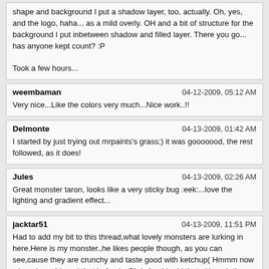shape and background I put a shadow layer, too, actually. Oh, yes, and the logo, haha... as a mild overly. OH and a bit of structure for the background I put inbetween shadow and filled layer. There you go... has anyone kept count? :P

Took a few hours...
weembaman
04-12-2009, 05:12 AM
Very nice...Like the colors very much...Nice work..!!
Delmonte
04-13-2009, 01:42 AM
I started by just trying out mrpaints's grass;) it was gooooood, the rest followed, as it does!
Jules
04-13-2009, 02:26 AM
Great monster taron, looks like a very sticky bug :eek:...love the lighting and gradient effect...
jacktar51
04-13-2009, 11:51 PM
Had to add my bit to this thread,what lovely monsters are lurking in here.Here is my monster.,he likes people though, as you can see,cause they are crunchy and taste good with ketchup( Hmmm now where have I heard that before)...Oh I should add that although the artwork was done in Artrage,some effects and adjustments were done in PhotoFiltre...Jack.
gill
04-14-2009, 08:02 AM
im only 14 so dont be to harsh , this took me like 40 mins to do .
still not finished done
here is my contibition